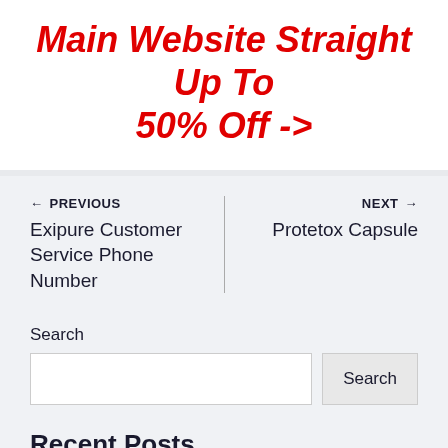Main Website Straight Up To 50% Off ->
← PREVIOUS
Exipure Customer Service Phone Number
NEXT →
Protetox Capsule
Search
Search
Recent Posts